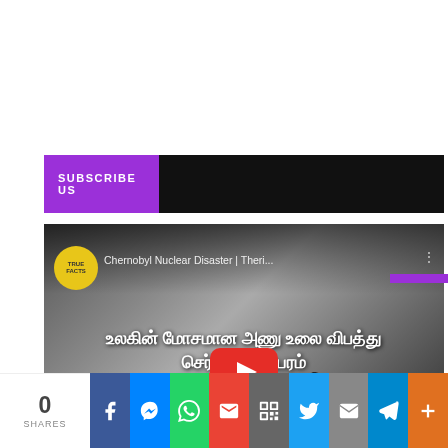[Figure (screenshot): Subscribe Us banner bar with purple label on dark background]
[Figure (screenshot): YouTube video thumbnail for Chernobyl Nuclear Disaster | Theriyuma episode 10, showing destroyed nuclear plant in black and white, Tamil text overlay, YouTube play button, and subscribe button]
[Figure (infographic): Social share bar with share count 0 SHARES and icons for Facebook, Messenger, WhatsApp, Gmail, QR, Twitter, Email, Telegram, More]